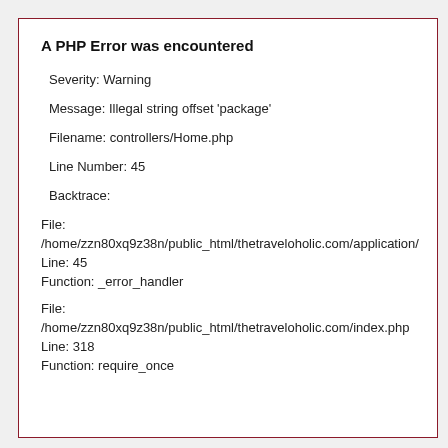A PHP Error was encountered
Severity: Warning
Message: Illegal string offset 'package'
Filename: controllers/Home.php
Line Number: 45
Backtrace:
File:
/home/zzn80xq9z38n/public_html/thetraveloholic.com/application/
Line: 45
Function: _error_handler
File:
/home/zzn80xq9z38n/public_html/thetraveloholic.com/index.php
Line: 318
Function: require_once